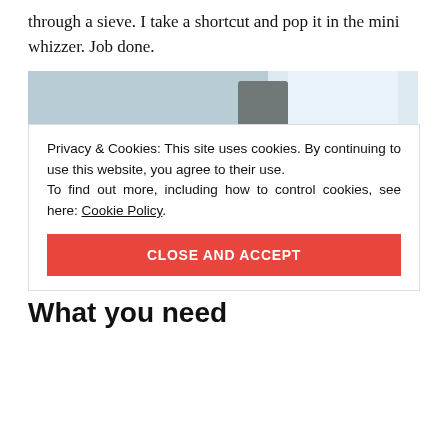through a sieve. I take a shortcut and pop it in the mini whizzer. Job done.
[Figure (photo): Two golden sandwich cookies/biscuits filled with pink cream, displayed on a decorative floral plate. Kitchen visible in background.]
Privacy & Cookies: This site uses cookies. By continuing to use this website, you agree to their use.
To find out more, including how to control cookies, see here: Cookie Policy
CLOSE AND ACCEPT
What you need